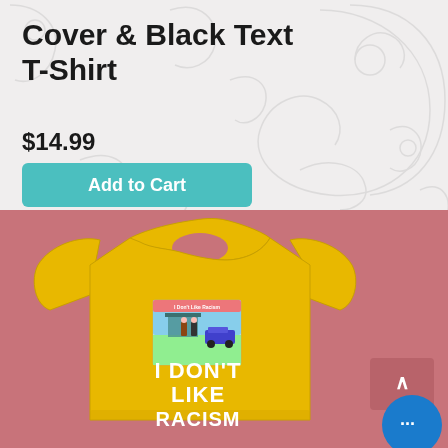Cover & Black Text T-Shirt
$14.99
Add to Cart
[Figure (photo): Yellow t-shirt with a book cover image and text reading 'I DON'T LIKE RACISM' on a dusty rose/salmon pink background]